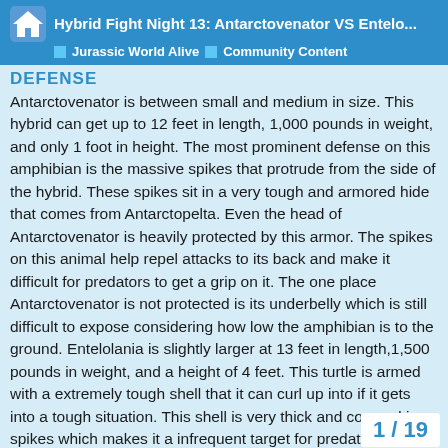Hybrid Fight Night 13: Antarctovenator VS Entelo... | Jurassic World Alive | Community Content
DEFENSE
Antarctovenator is between small and medium in size. This hybrid can get up to 12 feet in length, 1,000 pounds in weight, and only 1 foot in height. The most prominent defense on this amphibian is the massive spikes that protrude from the side of the hybrid. These spikes sit in a very tough and armored hide that comes from Antarctopelta. Even the head of Antarctovenator is heavily protected by this armor. The spikes on this animal help repel attacks to its back and make it difficult for predators to get a grip on it. The one place Antarctovenator is not protected is its underbelly which is still difficult to expose considering how low the amphibian is to the ground. Entelolania is slightly larger at 13 feet in length,1,500 pounds in weight, and a height of 4 feet. This turtle is armed with a extremely tough shell that it can curl up into if it gets into a tough situation. This shell is very thick and covered in spikes which makes it a infrequent target for predators. The head and tail of Entelolania is also adorned with tough scales and horns. Along its neck is also thick fur that keeps it
1 / 19